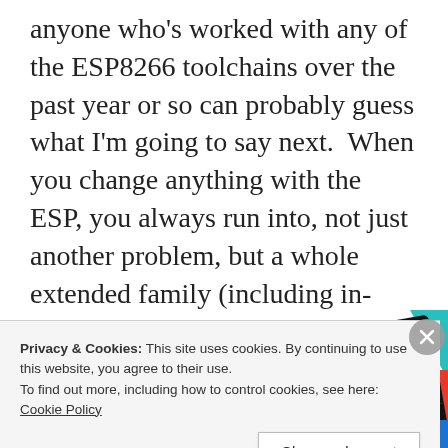anyone who's worked with any of the ESP8266 toolchains over the past year or so can probably guess what I'm going to say next. When you change anything with the ESP, you always run into, not just another problem, but a whole extended family (including in-laws) of problems. I haven't found any exceptions to this rule to date and I didn't this time, either.
[Figure (other): Advertisement image showing '99% INVISIBLE' text on a dark card with grid pattern, alongside colorful cards]
Privacy & Cookies: This site uses cookies. By continuing to use this website, you agree to their use.
To find out more, including how to control cookies, see here: Cookie Policy